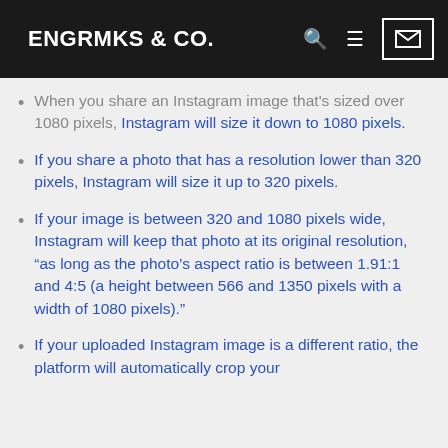ENGRMKS & CO.
When you share an Instagram image that's sized over 1080 pixels, Instagram will size it down to 1080 pixels.
If you share a photo that has a resolution lower than 320 pixels, Instagram will size it up to 320 pixels.
If your image is between 320 and 1080 pixels wide, Instagram will keep that photo at its original resolution, “as long as the photo’s aspect ratio is between 1.91:1 and 4:5 (a height between 566 and 1350 pixels with a width of 1080 pixels).”
If your uploaded Instagram image is a different ratio, the platform will automatically crop your